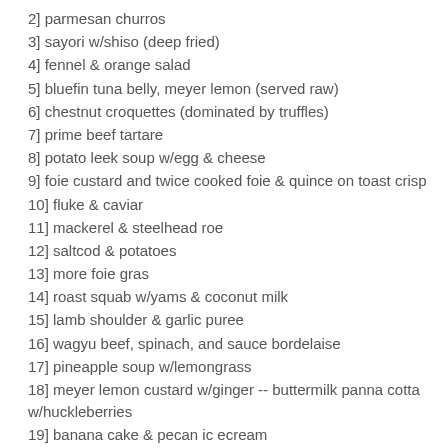2] parmesan churros
3] sayori w/shiso (deep fried)
4] fennel & orange salad
5] bluefin tuna belly, meyer lemon (served raw)
6] chestnut croquettes (dominated by truffles)
7] prime beef tartare
8] potato leek soup w/egg & cheese
9] foie custard and twice cooked foie & quince on toast crisp
10] fluke & caviar
11] mackerel & steelhead roe
12] saltcod & potatoes
13] more foie gras
14] roast squab w/yams & coconut milk
15] lamb shoulder & garlic puree
16] wagyu beef, spinach, and sauce bordelaise
17] pineapple soup w/lemongrass
18] meyer lemon custard w/ginger -- buttermilk panna cotta w/huckleberries
19] banana cake & pecan ic ecream
20] molasses milkshake
21] chocolate and pear dessert
22] mint sorbet and chocolate galea